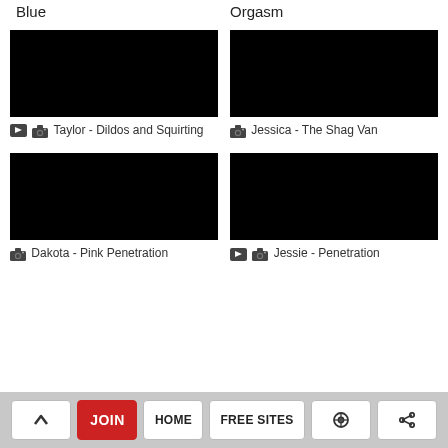Blue
Orgasm
[Figure (photo): Black thumbnail image left top]
[Figure (photo): Black thumbnail image right top]
Taylor - Dildos and Squirting
Jessica - The Shag Van
[Figure (photo): Black thumbnail image left bottom]
[Figure (photo): Black thumbnail image right bottom]
Dakota - Pink Penetration
Jessie - Penetration
^ JOIN HOME FREE SITES [search] [share]